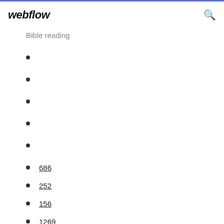webflow
Bible reading
686
252
156
1269
658
1482